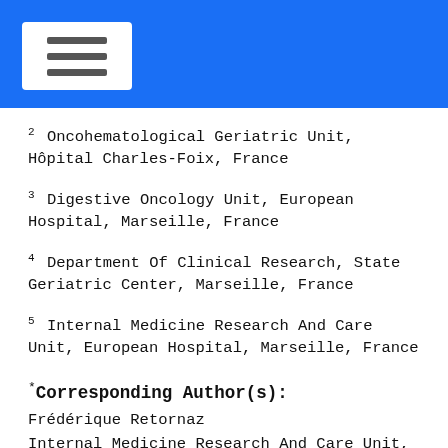2 Oncohematological Geriatric Unit, Hôpital Charles-Foix, France
3 Digestive Oncology Unit, European Hospital, Marseille, France
4 Department Of Clinical Research, State Geriatric Center, Marseille, France
5 Internal Medicine Research And Care Unit, European Hospital, Marseille, France
*Corresponding Author(s):
Frédérique Retornaz
Internal Medicine Research And Care Unit, European Hospital, Marseille, France
Tel:+33 628325242,
Fax:+33 413427712
Email:frederique.retornaz@gmail.com